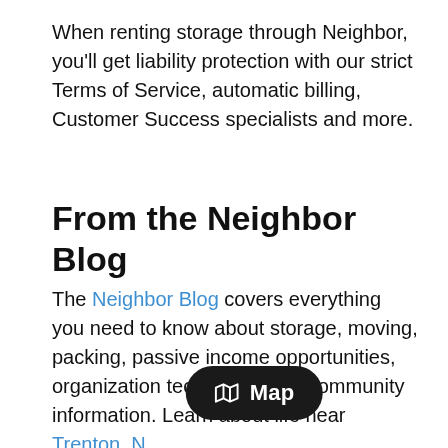When renting storage through Neighbor, you'll get liability protection with our strict Terms of Service, automatic billing, Customer Success specialists and more.
From the Neighbor Blog
The Neighbor Blog covers everything you need to know about storage, moving, packing, passive income opportunities, organization techniques and community information. Learn about life near Trenton, N…